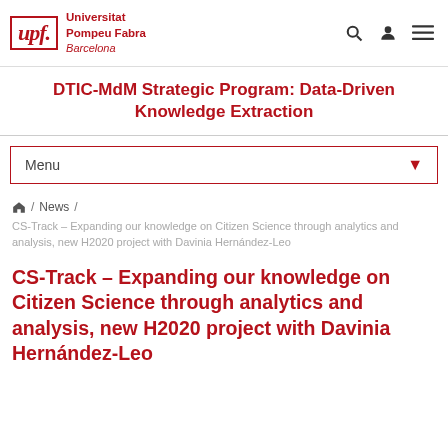[Figure (logo): Universitat Pompeu Fabra Barcelona logo with UPF text in red border box]
DTIC-MdM Strategic Program: Data-Driven Knowledge Extraction
Menu
News / CS-Track – Expanding our knowledge on Citizen Science through analytics and analysis, new H2020 project with Davinia Hernández-Leo
CS-Track – Expanding our knowledge on Citizen Science through analytics and analysis, new H2020 project with Davinia Hernández-Leo